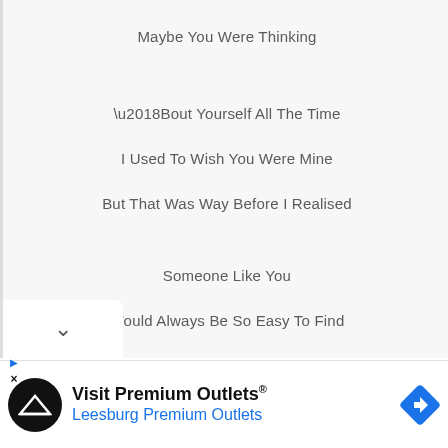Maybe You Were Thinking
‘Bout Yourself All The Time
I Used To Wish You Were Mine
But That Was Way Before I Realised
Someone Like You
Would Always Be So Easy To Find
So Easy
[Figure (screenshot): Advertisement banner: Visit Premium Outlets® Leesburg Premium Outlets with black circular logo and blue diamond arrow icon]